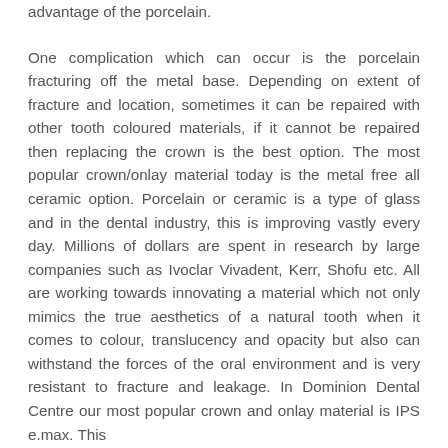advantage of the porcelain. One complication which can occur is the porcelain fracturing off the metal base. Depending on extent of fracture and location, sometimes it can be repaired with other tooth coloured materials, if it cannot be repaired then replacing the crown is the best option. The most popular crown/onlay material today is the metal free all ceramic option. Porcelain or ceramic is a type of glass and in the dental industry, this is improving vastly every day. Millions of dollars are spent in research by large companies such as Ivoclar Vivadent, Kerr, Shofu etc. All are working towards innovating a material which not only mimics the true aesthetics of a natural tooth when it comes to colour, translucency and opacity but also can withstand the forces of the oral environment and is very resistant to fracture and leakage. In Dominion Dental Centre our most popular crown and onlay material is IPS e.max. This